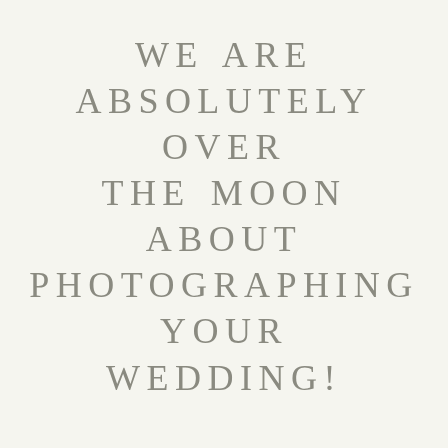WE ARE ABSOLUTELY OVER THE MOON ABOUT PHOTOGRAPHING YOUR WEDDING!